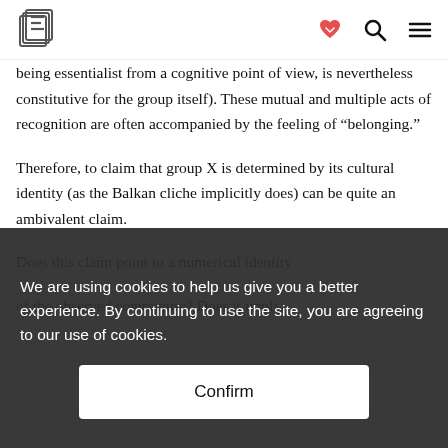[Logo: E] [heart-handshake icon] [search icon] [menu icon]
being essentialist from a cognitive point of view, is nevertheless constitutive for the group itself). These mutual and multiple acts of recognition are often accompanied by the feeling of “belonging.”
Therefore, to claim that group X is determined by its cultural identity (as the Balkan cliche implicitly does) can be quite an ambivalent claim. Does this claim point to a numerical identity of the observed community? Does it impli...
We are using cookies to help us give you a better experience. By continuing to use the site, you are agreeing to our use of cookies.
Confirm